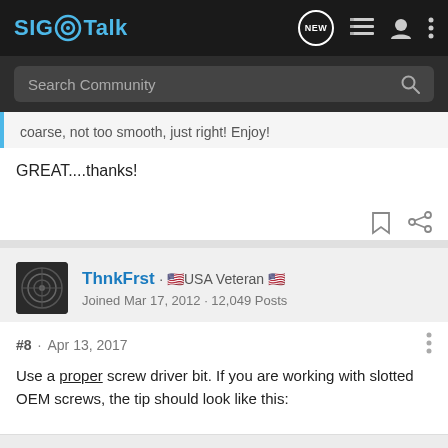SIG Talk - Search Community
coarse, not too smooth, just right! Enjoy!
GREAT....thanks!
ThnkFrst · 🇺🇸USA Veteran 🇺🇸
Joined Mar 17, 2012 · 12,049 Posts
#8 · Apr 13, 2017
Use a proper screw driver bit. If you are working with slotted OEM screws, the tip should look like this: